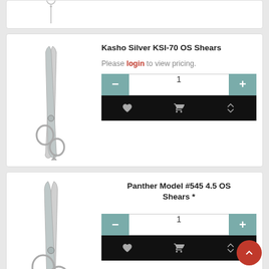[Figure (photo): Partial product card at top showing scissors image (cropped)]
[Figure (photo): Kasho Silver KSI-70 OS Shears product image - silver scissors]
Kasho Silver KSI-70 OS Shears
Please login to view pricing.
[Figure (photo): Panther Model #545 4.5 OS Shears product image - silver scissors]
Panther Model #545 4.5 OS Shears *